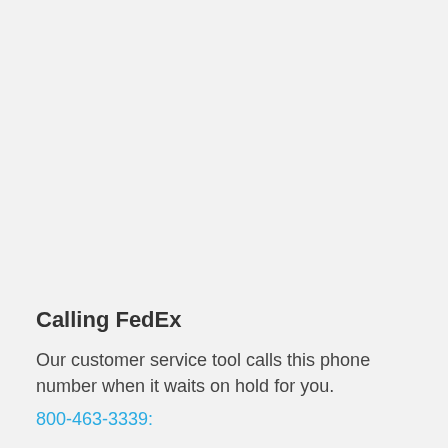Calling FedEx
Our customer service tool calls this phone number when it waits on hold for you.
800-463-3339: